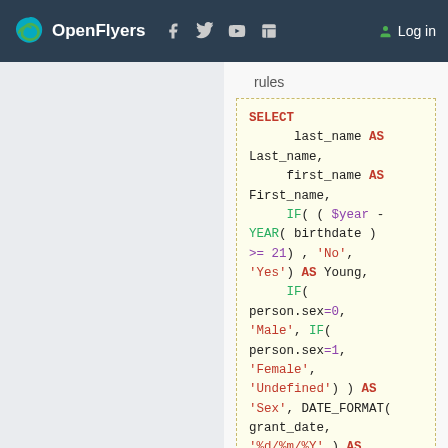OpenFlyers | Log in
rules
SELECT last_name AS Last_name, first_name AS First_name, IF( ( $year - YEAR( birthdate ) >= 21 ) , 'No', 'Yes') AS Young, IF( person.sex=0, 'Male', IF( person.sex=1, 'Female', 'Undefined') ) AS 'Sex', DATE_FORMAT( grant_date, '%d/%m/%Y' ) AS Date, validity_type.name AS 'Validity' FROM person LEFT JOIN validity